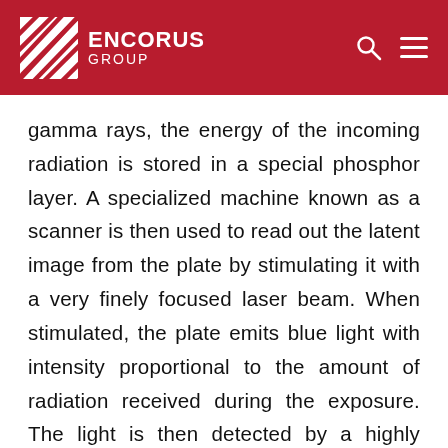[Figure (logo): Encorus Group logo with red background header, white diagonal-striped square icon and white text 'ENCORUS GROUP', plus search and hamburger menu icons on the right]
gamma rays, the energy of the incoming radiation is stored in a special phosphor layer. A specialized machine known as a scanner is then used to read out the latent image from the plate by stimulating it with a very finely focused laser beam. When stimulated, the plate emits blue light with intensity proportional to the amount of radiation received during the exposure. The light is then detected by a highly sensitive analog device known as a photomultiplier (PMT) and converted to a digital signal using an analog-to-digital converter (ADC). The generated digital X-ray image can then be